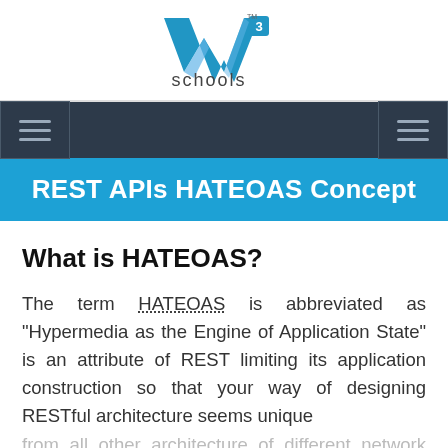[Figure (logo): W3Schools logo with blue W icon and 'schools' text below]
REST APIs HATEOAS Concept
What is HATEOAS?
The term HATEOAS is abbreviated as "Hypermedia as the Engine of Application State" is an attribute of REST limiting its application construction so that your way of designing RESTful architecture seems unique from all other architecture of different network app...